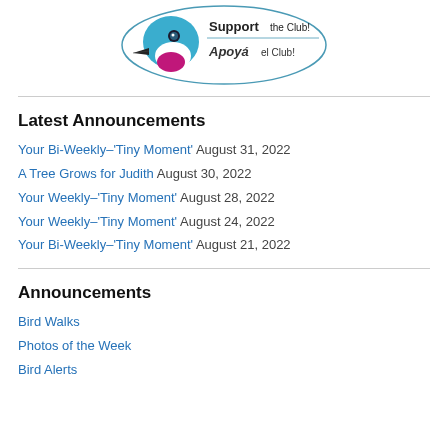[Figure (logo): Bird club logo with a blue bird head and text 'Support the Club! / Apoyá el Club!' inside an oval border]
Latest Announcements
Your Bi-Weekly–'Tiny Moment' August 31, 2022
A Tree Grows for Judith August 30, 2022
Your Weekly–'Tiny Moment' August 28, 2022
Your Weekly–'Tiny Moment' August 24, 2022
Your Bi-Weekly–'Tiny Moment' August 21, 2022
Announcements
Bird Walks
Photos of the Week
Bird Alerts